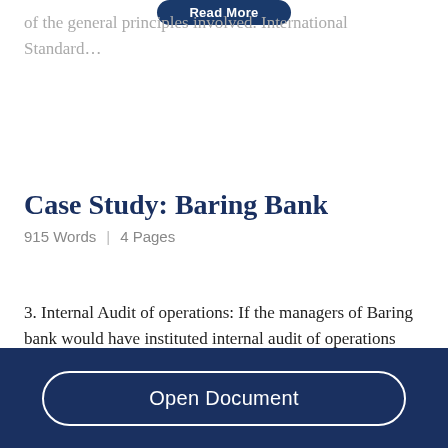of the general principles involved. International Standard…
Case Study: Baring Bank
915 Words  | 4 Pages
3. Internal Audit of operations: If the managers of Baring bank would have instituted internal audit of operations then they would have been able to uncover Leeson teeming and lading acts. Fraudulent